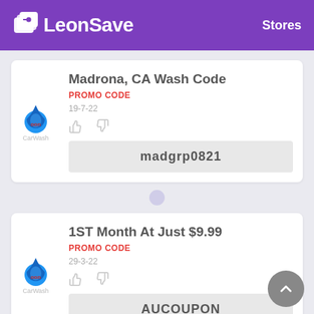LeonSave  Stores
Madrona, CA Wash Code
PROMO CODE
19-7-22
madgrp0821
1ST Month At Just $9.99
PROMO CODE
29-3-22
AUCOUPON